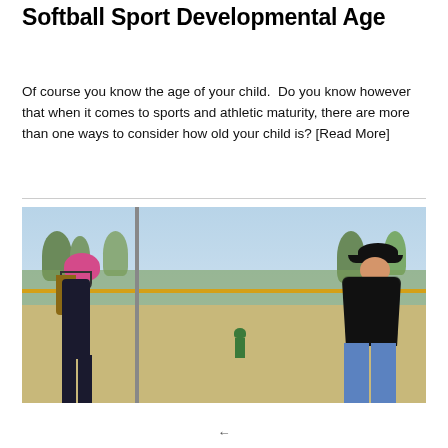Softball Sport Developmental Age
Of course you know the age of your child.  Do you know however that when it comes to sports and athletic maturity, there are more than one ways to consider how old your child is? [Read More]
[Figure (photo): A softball player wearing a pink helmet and black jersey stands on a dirt field. An adult coach in a black shirt and jeans leans forward in the background. A child in green is visible further in the outfield. Trees and a yellow fence are visible in the background on a clear day.]
←